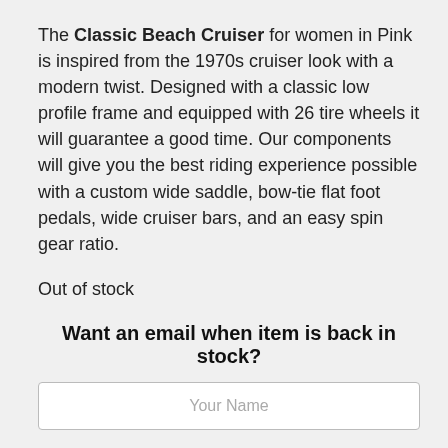The Classic Beach Cruiser for women in Pink is inspired from the 1970s cruiser look with a modern twist. Designed with a classic low profile frame and equipped with 26 tire wheels it will guarantee a good time. Our components will give you the best riding experience possible with a custom wide saddle, bow-tie flat foot pedals, wide cruiser bars, and an easy spin gear ratio.
Out of stock
Want an email when item is back in stock?
Your Name